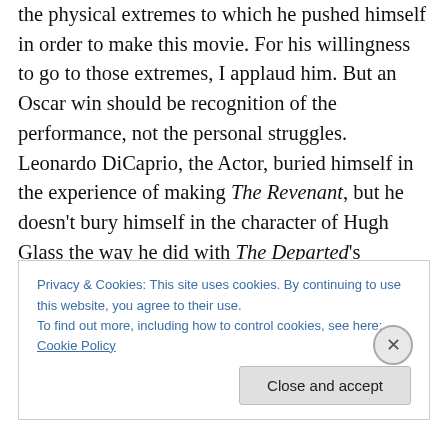the physical extremes to which he pushed himself in order to make this movie. For his willingness to go to those extremes, I applaud him. But an Oscar win should be recognition of the performance, not the personal struggles. Leonardo DiCaprio, the Actor, buried himself in the experience of making The Revenant, but he doesn't bury himself in the character of Hugh Glass the way he did with The Departed's William Costigan or The Wolf of Wall Street's Jordan Belfort or What's Eating Gilbert Grape's Arnie or J.Edgar's title character or so many others. He doesn't bury himself in Hugh Glass to the same extent
Privacy & Cookies: This site uses cookies. By continuing to use this website, you agree to their use.
To find out more, including how to control cookies, see here: Cookie Policy